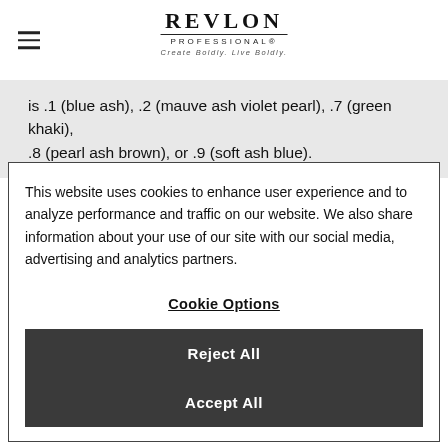REVLON PROFESSIONAL® — Create Boldly. Live Boldly.
is .1 (blue ash), .2 (mauve ash violet pearl), .7 (green khaki), .8 (pearl ash brown), or .9 (soft ash blue).
This website uses cookies to enhance user experience and to analyze performance and traffic on our website. We also share information about your use of our site with our social media, advertising and analytics partners.
Cookie Options
Reject All
Accept All